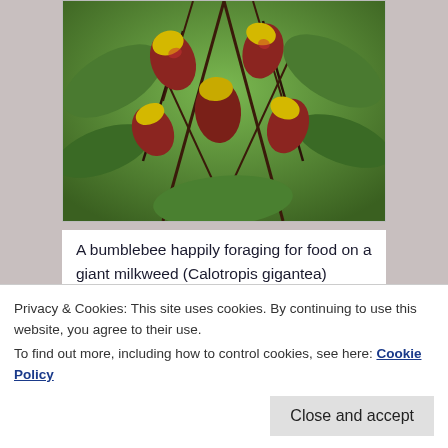[Figure (photo): Close-up photo of giant milkweed (Calotropis gigantea) plant with red and yellow pod-like flowers/seed pods hanging from dark stems, with green leaves in background.]
A bumblebee happily foraging for food on a giant milkweed (Calotropis gigantea) (EVERYTHING’s bigger in the tropics!). Oh! There’s another really interesting two minute video you might want to see about how bumblebees manage to control their flight in the video I found HERE: Was It Designed? The Bumblebee’s Flight
Privacy & Cookies: This site uses cookies. By continuing to use this website, you agree to their use.
To find out more, including how to control cookies, see here: Cookie Policy